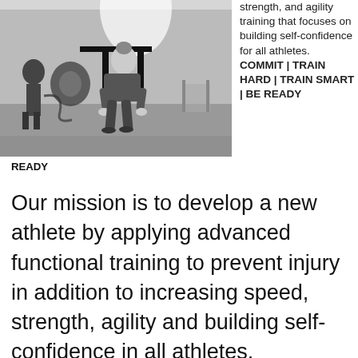[Figure (photo): Black and white photo of a female athlete doing a sled push exercise in a gym, gripping vertical bars low to the ground. Another person visible in the background.]
strength, and agility training that focuses on building self-confidence for all athletes. COMMIT | TRAIN HARD | TRAIN SMART | BE READY
Our mission is to develop a new athlete by applying advanced functional training to prevent injury in addition to increasing speed, strength, agility and building self-confidence in all athletes.